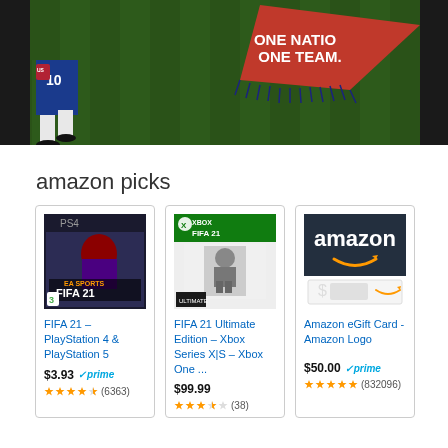[Figure (photo): Soccer/football scene with a player in blue US jersey number 10 and a red pennant flag with 'ONE NATION ONE TEAM' text, on a green field. Dark background frame.]
amazon picks
[Figure (photo): FIFA 21 PlayStation 4 box art showing a player in PSG uniform with PS4 logo and EA Sports FIFA 21 branding, PEGI 3 rating]
FIFA 21 – PlayStation 4 & PlayStation 5
$3.93 prime
(6363)
[Figure (photo): FIFA 21 Ultimate Edition Xbox box art with green Xbox header and a player in black and white photo style]
FIFA 21 Ultimate Edition – Xbox Series X|S – Xbox One  ...
$99.99
(38)
[Figure (photo): Amazon eGift Card showing dark navy background with amazon logo and smile, with a dollar sign gift card amount box]
Amazon eGift Card - Amazon Logo
$50.00 prime
(832096)